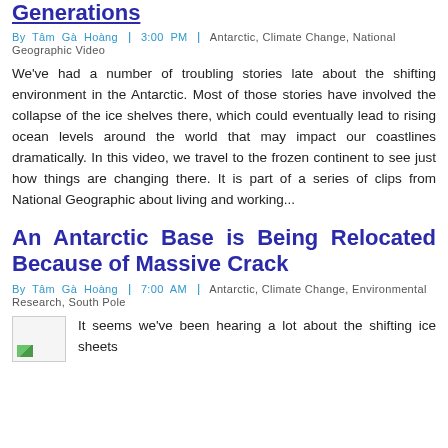Generations
By Tâm Gà Hoàng ǀ 3:00 PM ǀ Antarctic, Climate Change, National Geographic Video
We've had a number of troubling stories late about the shifting environment in the Antarctic. Most of those stories have involved the collapse of the ice shelves there, which could eventually lead to rising ocean levels around the world that may impact our coastlines dramatically. In this video, we travel to the frozen continent to see just how things are changing there. It is part of a series of clips from National Geographic about living and working...
An Antarctic Base is Being Relocated Because of Massive Crack
By Tâm Gà Hoàng ǀ 7:00 AM ǀ Antarctic, Climate Change, Environmental Research, South Pole
[Figure (photo): Small thumbnail image placeholder with green corner element]
It seems we've been hearing a lot about the shifting ice sheets